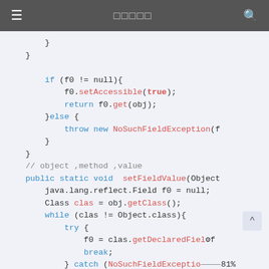☰  □□□□□  🔍
[Figure (screenshot): Java source code snippet showing field access and field value setter methods with syntax highlighting. Code includes if/else block with setAccessible, return, throw NoSuchFieldException, and a public static void setFieldValue method with while loop, try/catch block using getDeclaredField, break, and getSuperclass calls.]